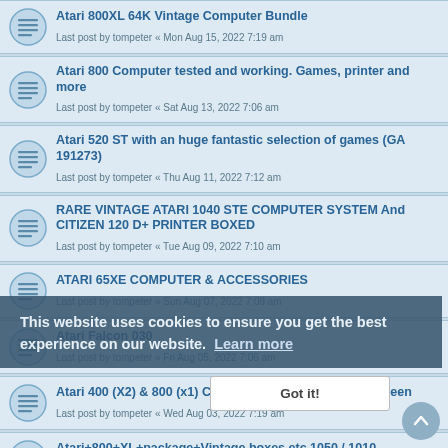Atari 800XL 64K Vintage Computer Bundle
Last post by tompeter « Mon Aug 15, 2022 7:19 am
Atari 800 Computer tested and working. Games, printer and more
Last post by tompeter « Sat Aug 13, 2022 7:06 am
Atari 520 ST with an huge fantastic selection of games (GA 191273)
Last post by tompeter « Thu Aug 11, 2022 7:12 am
RARE VINTAGE ATARI 1040 STE COMPUTER SYSTEM And CITIZEN 120 D+ PRINTER BOXED
Last post by tompeter « Tue Aug 09, 2022 7:10 am
ATARI 65XE COMPUTER & ACCESSORIES
Last post by tompeter « Sun Aug 07, 2022 7:09 am
Atari Falcon 030
Last post by tompeter « Fri Aug 05, 2022 7:06 am
Atari 400 (X2) & 800 (x1) Computer - Untested, Sold As Seen
Last post by tompeter « Wed Aug 03, 2022 7:19 am
Atari+800+XL+package+Vintage boxes etc 1050 / 1010
Last post by tompeter « Mon Aug 01, 2022 7:07 am
Atari 520 STE Vintage Computer Boxed and polystyrene inserts / power supply
Last post by tompeter « Sat Jul 30, 2022 7:11 am
Atari 520 ST with an huge fantastic selection of games (GA...
This website uses cookies to ensure you get the best experience on our website.  Learn more
Got it!